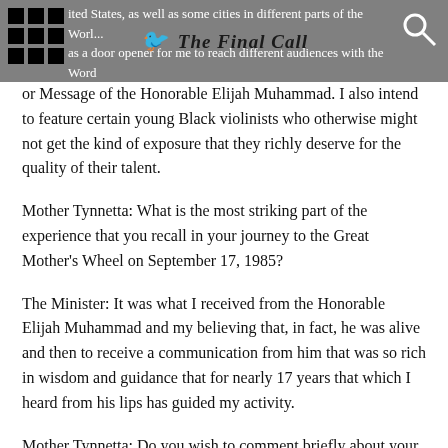The Final Call — [partial text visible]: ...ited States, as well as some cities in different parts of the World... as a door opener for me to reach different audiences with the Word
or Message of the Honorable Elijah Muhammad. I also intend to feature certain young Black violinists who otherwise might not get the kind of exposure that they richly deserve for the quality of their talent.
Mother Tynnetta: What is the most striking part of the experience that you recall in your journey to the Great Mother's Wheel on September 17, 1985?
The Minister: It was what I received from the Honorable Elijah Muhammad and my believing that, in fact, he was alive and then to receive a communication from him that was so rich in wisdom and guidance that for nearly 17 years that which I heard from his lips has guided my activity.
Mother Tynnetta: Do you wish to comment briefly about your experience in the Mexican Village of Tepotzlan in which you, along with several other witnesses, observed an unusually bright object...